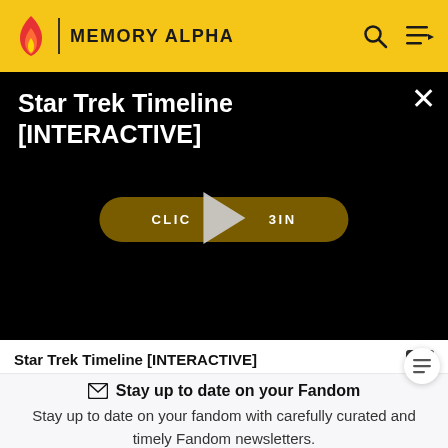MEMORY ALPHA
[Figure (screenshot): Video player showing Star Trek Timeline [INTERACTIVE] with a dark background, a 'CLICK TO BEGIN' button overlaid with a play triangle icon, and an X close button in the top right corner.]
Star Trek Timeline [INTERACTIVE]
Stay up to date on your Fandom
Stay up to date on your fandom with carefully curated and timely Fandom newsletters.